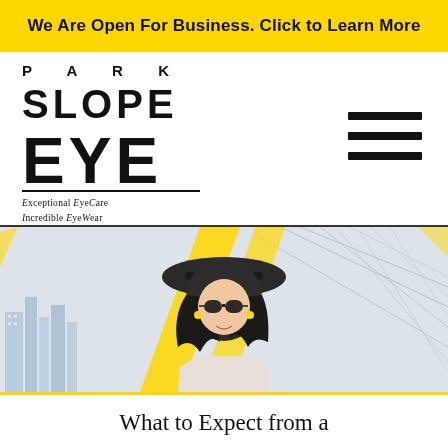We Are Open For Business. Click to Learn More
[Figure (logo): Park Slope Eye logo with text PARK, SLOPE, EYE stacked, tagline: Exceptional EyeCare Incredible EyeWear, and hamburger menu icon]
[Figure (illustration): Hero banner showing a stylized fashion illustration of a woman wearing sunglasses and a hat, with a city/bridge skyline sketch in the background and yellow diagonal stripe accents]
What to Expect from a
Email | Schedule | Location | Share icons on yellow bar